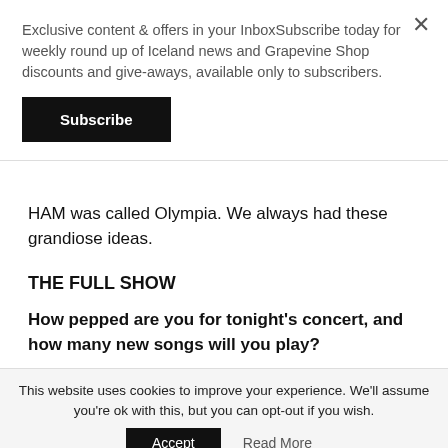Exclusive content & offers in your InboxSubscribe today for weekly round up of Iceland news and Grapevine Shop discounts and give-aways, available only to subscribers.
Subscribe
HAM was called Olympia. We always had these grandiose ideas.
THE FULL SHOW
How pepped are you for tonight's concert, and how many new songs will you play?
We played a few times this summer, at Eistnaflug, ATP,
This website uses cookies to improve your experience. We'll assume you're ok with this, but you can opt-out if you wish.
Accept
Read More